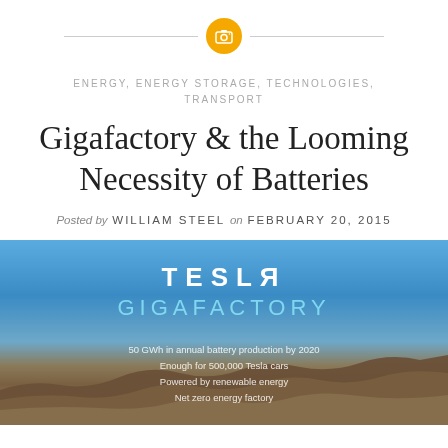[Figure (illustration): Camera icon inside a golden/yellow circle, centered between two horizontal divider lines]
ENERGY, ENERGY STORAGE, TECHNOLOGIES, TRANSPORT
Gigafactory & the Looming Necessity of Batteries
Posted by WILLIAM STEEL on FEBRUARY 20, 2015
[Figure (photo): Tesla Gigafactory promotional image showing aerial desert terrain under a blue sky with TESLA GIGAFACTORY text overlay and statistics: 50 GWh in annual battery production by 2020, Enough for 500,000 Tesla cars, Powered by renewable energy, Net zero energy factory]